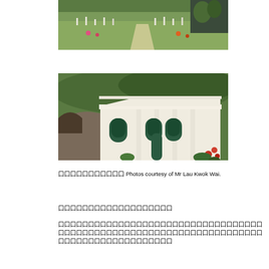[Figure (photo): Aerial view of a cemetery with rows of grave markers, lush green trees and colorful flowers along a path.]
[Figure (photo): White colonial-style chapel or mausoleum building with arched windows and columns, surrounded by dense green hillside vegetation and some red flowers.]
囗囗囗囗囗囗囗囗囗囗囗 Photos courtesy of Mr Lau Kwok Wai.
囗囗囗囗囗囗囗囗囗囗囗囗囗囗囗囗囗囗囗
囗囗囗囗囗囗囗囗囗囗囗囗囗囗囗囗囗囗囗囗囗囗囗囗囗囗囗囗囗囗囗囗囗囗囗囗囗囗囗囗囗囗囗囗囗囗囗囗囗囗囗囗囗囗囗囗囗囗囗囗囗